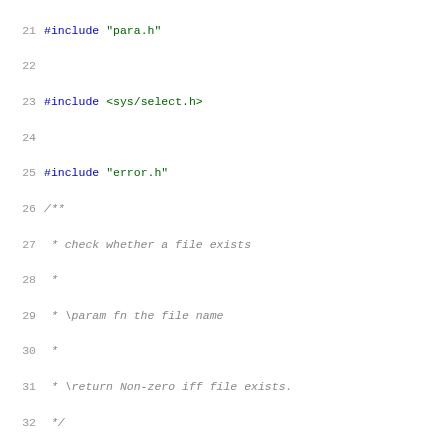Source code listing showing C file utility functions, lines 21-52+